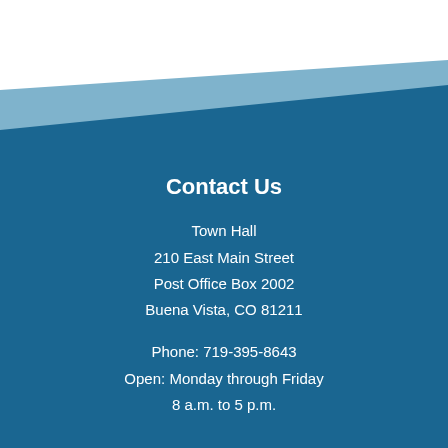[Figure (illustration): Decorative background with white top area and two overlapping diagonal wave shapes in light blue and dark blue covering most of the page]
Contact Us
Town Hall
210 East Main Street
Post Office Box 2002
Buena Vista, CO 81211
Phone: 719-395-8643
Open: Monday through Friday
8 a.m. to 5 p.m.